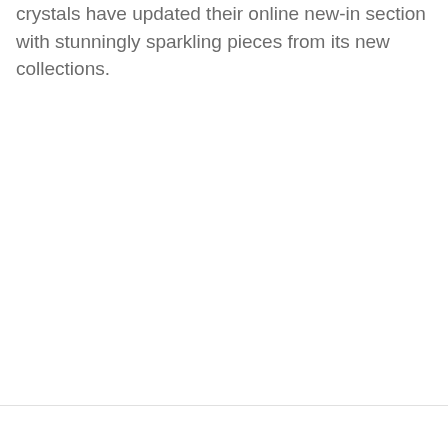crystals have updated their online new-in section with stunningly sparkling pieces from its new collections.